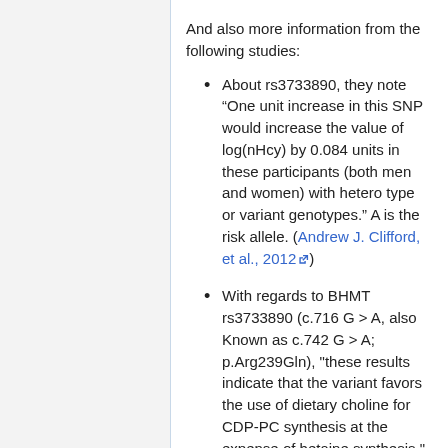And also more information from the following studies:
About rs3733890, they note “One unit increase in this SNP would increase the value of log(nHcy) by 0.084 units in these participants (both men and women) with heterotype or variant genotypes.” A is the risk allele. (Andrew J. Clifford, et al., 2012)
With regards to BHMT rs3733890 (c.716 G > A, also Known as c.742 G > A; p.Arg239Gln), "these results indicate that the variant favors the use of dietary choline for CDP-PC synthesis at the expense of betaine synthesis." (Ariel B. Ganz, et al., 2017)